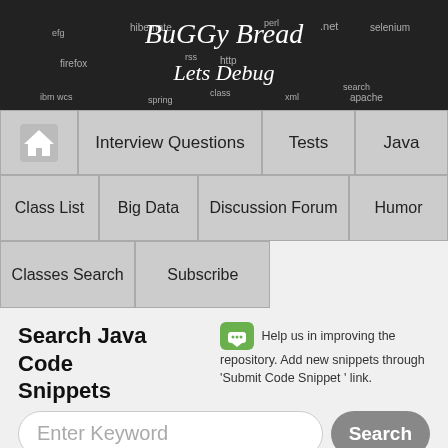BuGGy Bread - Lets Debug
Interview Questions
Tests
Java
Class List
Big Data
Discussion Forum
Humor
Classes Search
Subscribe
Search Java Code Snippets
Help us in improving the repository. Add new snippets through 'Submit Code Snippet ' link.
Enter Keyword
Search
Submit Code Snippet